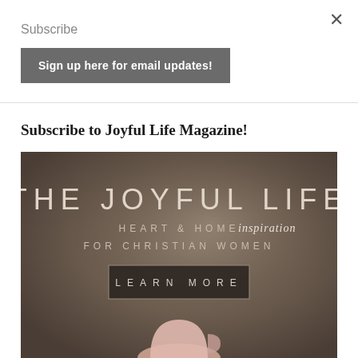×
Subscribe
Sign up here for email updates!
Subscribe to Joyful Life Magazine!
[Figure (illustration): The Joyful Life magazine advertisement showing 'THE JOYFUL LIFE HEART & HOME inspiration FOR CHRISTIAN WOMEN' text overlaid on a moody brown background with a pink mug at the bottom, and a 'LEARN MORE' button.]